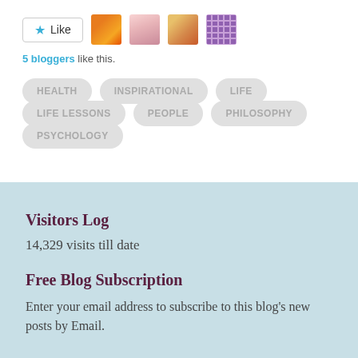[Figure (other): Like button with star icon and 4 blogger avatar thumbnails (fire image, girl photo, food photo, purple pattern icon)]
5 bloggers like this.
HEALTH
INSPIRATIONAL
LIFE
LIFE LESSONS
PEOPLE
PHILOSOPHY
PSYCHOLOGY
Visitors Log
14,329 visits till date
Free Blog Subscription
Enter your email address to subscribe to this blog's new posts by Email.